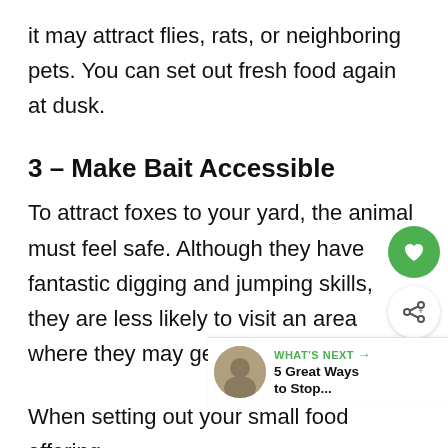it may attract flies, rats, or neighboring pets. You can set out fresh food again at dusk.
3 – Make Bait Accessible
To attract foxes to your yard, the animal must feel safe. Although they have fantastic digging and jumping skills, they are less likely to visit an area where they may get trapped inside.
When setting out your small food offering